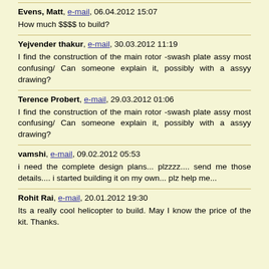Evens, Matt, e-mail, 06.04.2012 15:07
How much $$$$ to build?
Yejvender thakur, e-mail, 30.03.2012 11:19
I find the construction of the main rotor -swash plate assy most confusing/ Can someone explain it, possibly with a assyy drawing?
Terence Probert, e-mail, 29.03.2012 01:06
I find the construction of the main rotor -swash plate assy most confusing/ Can someone explain it, possibly with a assyy drawing?
vamshi, e-mail, 09.02.2012 05:53
i need the complete design plans... plzzzz.... send me those details.... i started building it on my own... plz help me...
Rohit Rai, e-mail, 20.01.2012 19:30
Its a really cool helicopter to build. May I know the price of the kit. Thanks.